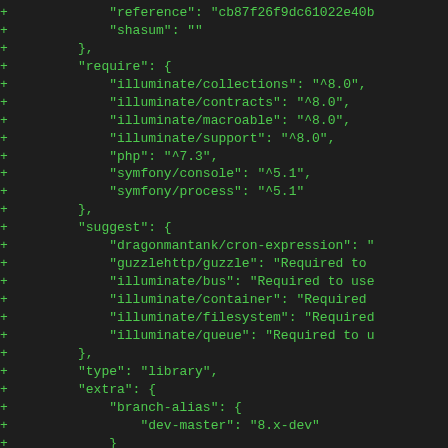+             "reference": "cb87f26f9dc61022e40b
+             "shasum": ""
+         },
+         "require": {
+             "illuminate/collections": "^8.0",
+             "illuminate/contracts": "^8.0",
+             "illuminate/macroable": "^8.0",
+             "illuminate/support": "^8.0",
+             "php": "^7.3",
+             "symfony/console": "^5.1",
+             "symfony/process": "^5.1"
+         },
+         "suggest": {
+             "dragonmantank/cron-expression": "
+             "guzzlehttp/guzzle": "Required to
+             "illuminate/bus": "Required to use
+             "illuminate/container": "Required
+             "illuminate/filesystem": "Required
+             "illuminate/queue": "Required to u
+         },
+         "type": "library",
+         "extra": {
+             "branch-alias": {
+                 "dev-master": "8.x-dev"
+             }
+         },
+         "autoload": {
+             "psr-4": {
+                 "Illuminate\\Console\\": ""
+             }